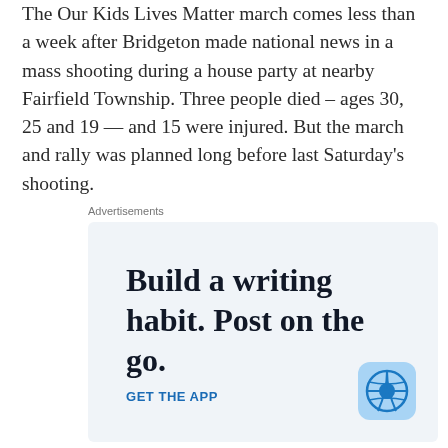The Our Kids Lives Matter march comes less than a week after Bridgeton made national news in a mass shooting during a house party at nearby Fairfield Township. Three people died – ages 30, 25 and 19 — and 15 were injured. But the march and rally was planned long before last Saturday's shooting.
Advertisements
[Figure (other): Advertisement banner with text 'Build a writing habit. Post on the go.' with a 'GET THE APP' call to action and WordPress logo icon.]